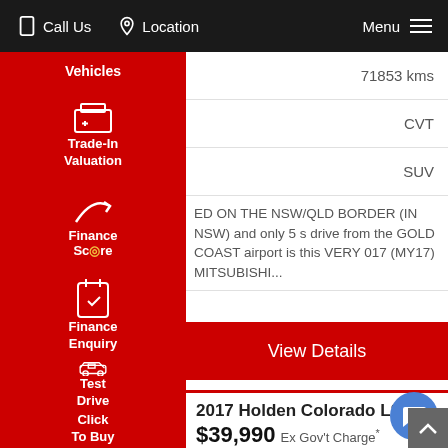Call Us  Location  Menu
Vehicles
Trade-In Valuation
Finance Score
Finance Enquiry
Test Drive
Click To Buy
71853 kms
CVT
SUV
ED ON THE NSW/QLD BORDER (IN NSW) and only 5 s drive from the GOLD COAST airport is this VERY 017 (MY17) MITSUBISHI...
View Details
2017 Holden Colorado LS RG
$39,990 Ex Gov't Charge*